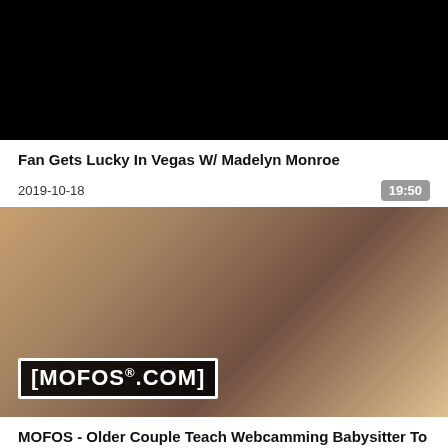[Figure (photo): Black video player thumbnail area]
Fan Gets Lucky In Vegas W/ Madelyn Monroe
2019-10-18
19:50
[Figure (photo): MOFOS video thumbnail showing adult content scene with MOFOS.COM logo watermark]
MOFOS - Older Couple Teach Webcamming Babysitter To Fuck